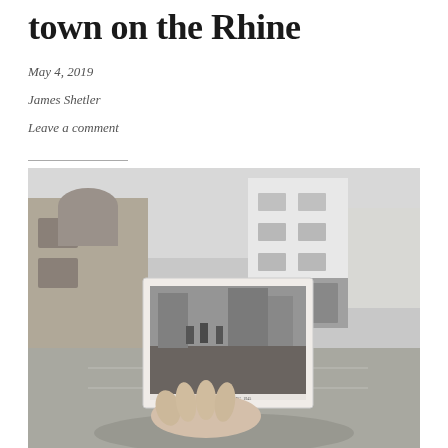town on the Rhine
May 4, 2019
James Shetler
Leave a comment
[Figure (photo): Black and white photograph of a German town street scene. A hand holds up an old WWII-era photograph of soldiers walking down a cobblestone street with buildings, overlaid against the same modern street scene in the background showing the same buildings now used as shops.]